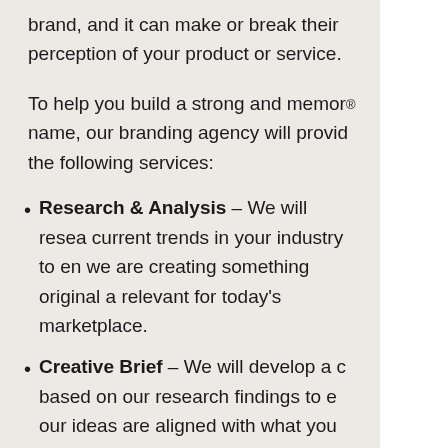brand, and it can make or break their perception of your product or service.
To help you build a strong and memorable name, our branding agency will provide the following services:
Research & Analysis – We will research current trends in your industry to ensure we are creating something original and relevant for today's marketplace.
Creative Brief – We will develop a creative brief based on our research findings to ensure our ideas are aligned with what you want for your new brand name.
Logo Design: